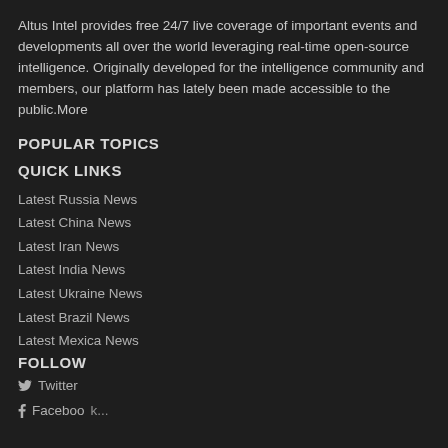Altus Intel provides free 24/7 live coverage of important events and developments all over the world leveraging real-time open-source intelligence. Originally developed for the intelligence community and members, our platform has lately been made accessible to the public.More
POPULAR TOPICS
QUICK LINKS
Latest Russia News
Latest China News
Latest Iran News
Latest India News
Latest Ukraine News
Latest Brazil News
Latest Mexica News
FOLLOW
Twitter
Faceboo...